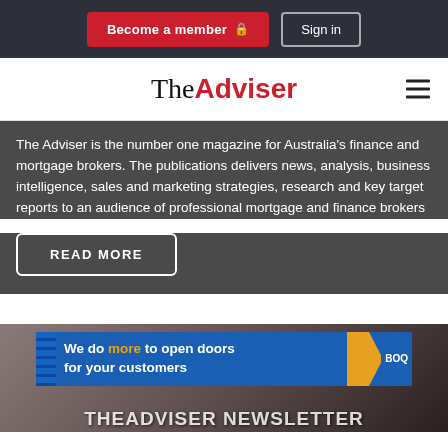Become a member | Sign in
[Figure (logo): The Adviser logo — 'The' in serif black, 'Adviser' in bold red sans-serif]
The Adviser is the number one magazine for Australia's finance and mortgage brokers. The publications delivers news, analysis, business intelligence, sales and marketing strategies, research and key target reports to an audience of professional mortgage and finance brokers
READ MORE
[Figure (photo): Photo of a smiling woman, partially cropped, with a BOQ advertisement banner overlay reading 'We do more to open doors for your customers' and large footer text 'TheAdviser NEWSLETTER']